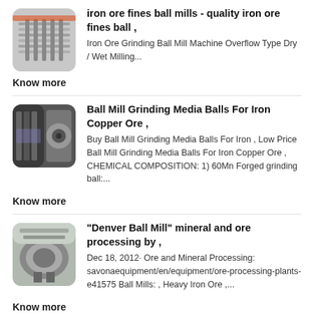[Figure (photo): Thumbnail image of iron ore ball mill machinery]
iron ore fines ball mills - quality iron ore fines ball ,
Iron Ore Grinding Ball Mill Machine Overflow Type Dry / Wet Milling...
Know more
[Figure (photo): Thumbnail image of ball mill grinding media balls]
Ball Mill Grinding Media Balls For Iron Copper Ore ,
Buy Ball Mill Grinding Media Balls For Iron , Low Price Ball Mill Grinding Media Balls For Iron Copper Ore , CHEMICAL COMPOSITION: 1) 60Mn Forged grinding ball:...
Know more
[Figure (photo): Thumbnail image of Denver Ball Mill]
"Denver Ball Mill" mineral and ore processing by ,
Dec 18, 2012· Ore and Mineral Processing: savonaequipment/en/equipment/ore-processing-plants-e41575 Ball Mills: , Heavy Iron Ore ,...
Know more
[Figure (photo): Partial thumbnail image at bottom of page]